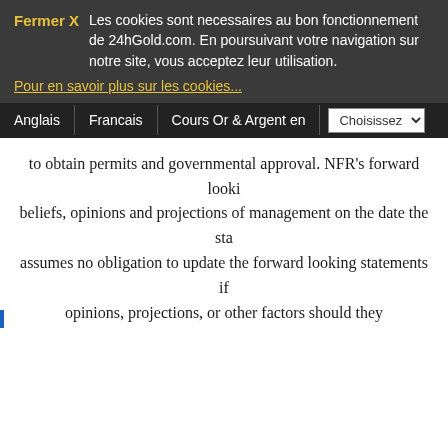Les cookies sont necessaires au bon fonctionnement de 24hGold.com. En poursuivant votre navigation sur notre site, vous acceptez leur utilisation.
Pour en savoir plus sur les cookies...
Anglais  Francais  Cours Or & Argent en  Choisissez
to obtain permits and governmental approval. NFR's forward looki... beliefs, opinions and projections of management on the date the sta... assumes no obligation to update the forward looking statements if... opinions, projections, or other factors should they...